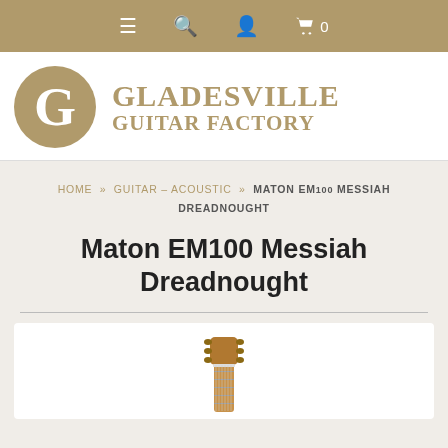Navigation bar with menu, search, account, and cart (0) icons
[Figure (logo): Gladesville Guitar Factory logo: gold circle with G, beside bold gold text GLADESVILLE GUITAR FACTORY]
HOME » GUITAR – ACOUSTIC » MATON EM100 MESSIAH DREADNOUGHT
Maton EM100 Messiah Dreadnought
[Figure (photo): Top of a Maton EM100 Messiah Dreadnought acoustic guitar headstock showing tuning pegs, visible from the top of a white product image box]